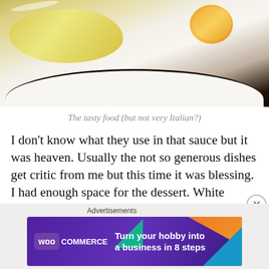[Figure (photo): Photo of food on a white plate: an omelette with herb garnish and a lemon slice]
The tasty food (but not very Italian?)
I don't know what they use in that sauce but it was heaven. Usually the not so generous dishes get critic from me but this time it was blessing. I had enough space for the dessert. White chocolate cheese cake with berries. Once again HEAVEN.
So the eating went well and after some shopping the gaming machines called for us. If last night I lost today
Advertisements
[Figure (screenshot): WooCommerce advertisement banner: Turn your hobby into a business in 8 steps]